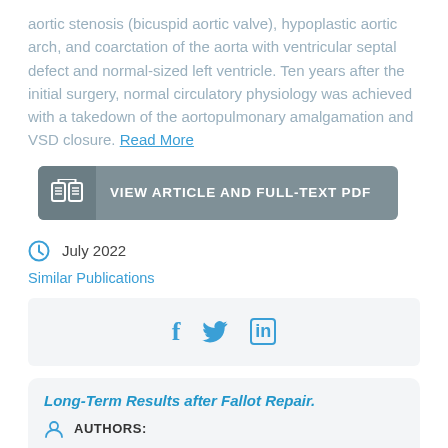aortic stenosis (bicuspid aortic valve), hypoplastic aortic arch, and coarctation of the aorta with ventricular septal defect and normal-sized left ventricle. Ten years after the initial surgery, normal circulatory physiology was achieved with a takedown of the aortopulmonary amalgamation and VSD closure. Read More
[Figure (other): Button: VIEW ARTICLE AND FULL-TEXT PDF with open book icon]
July 2022
Similar Publications
[Figure (other): Social share icons: Facebook (f), Twitter (bird), LinkedIn (in)]
Long-Term Results after Fallot Repair.
AUTHORS:
Jonas Markus Kleinöder   Ariawan Purbojo